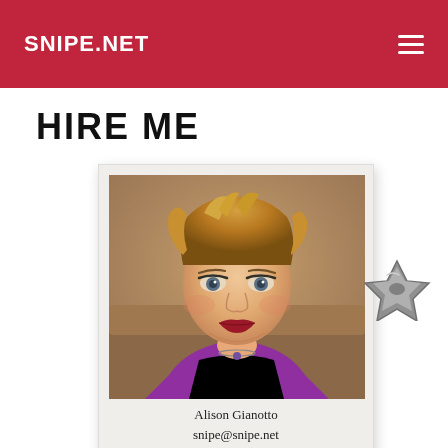SNIPE.NET
HIRE ME
[Figure (photo): Polaroid-style photo of Alison Gianotto with name and email caption 'Alison Gianotto / snipe@snipe.net', decorated with metal clip ornaments on lower-left and right sides]